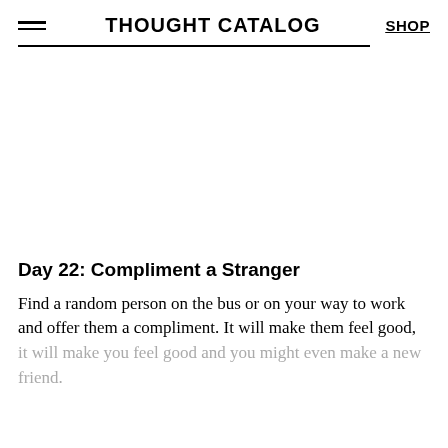THOUGHT CATALOG | SHOP
Day 22: Compliment a Stranger
Find a random person on the bus or on your way to work and offer them a compliment. It will make them feel good, it will make you feel good and you might even make a new friend.